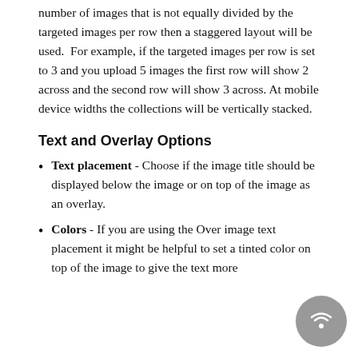number of images that is not equally divided by the targeted images per row then a staggered layout will be used.  For example, if the targeted images per row is set to 3 and you upload 5 images the first row will show 2 across and the second row will show 3 across. At mobile device widths the collections will be vertically stacked.
Text and Overlay Options
Text placement - Choose if the image title should be displayed below the image or on top of the image as an overlay.
Colors - If you are using the Over image text placement it might be helpful to set a tinted color on top of the image to give the text more